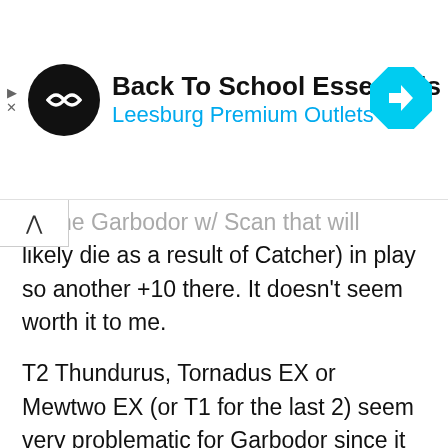[Figure (screenshot): Ad banner for Back To School Essentials at Leesburg Premium Outlets, showing a circular black logo with double arrow icon, the outlet name with a blue navigation diamond icon]
se the Garbodor w/ Scan that will likely die as a result of Catcher) in play so another +10 there. It doesn't seem worth it to me.
T2 Thundurus, Tornadus EX or Mewtwo EX (or T1 for the last 2) seem very problematic for Garbodor since it will be a challenge fishing for 2 Trubbish on your first turn. Assuming they can knock out your 1 Trubbish on the 1st or 2nd turn, it will be hard to set up the Ability-